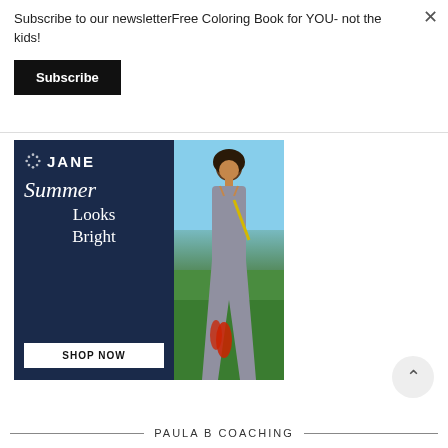Subscribe to our newsletterFree Coloring Book for YOU- not the kids!
Subscribe
[Figure (illustration): Jane.com advertisement banner featuring navy blue background with 'JANE' logo, 'Summer Looks Bright' text, 'SHOP NOW' button, and a photo of a woman in a floral jumpsuit standing in a field]
PAULA B COACHING